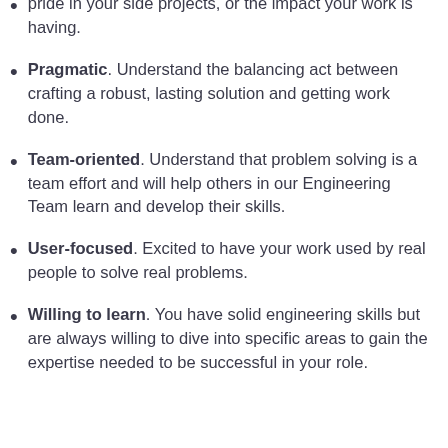pride in your side projects, or the impact your work is having.
Pragmatic. Understand the balancing act between crafting a robust, lasting solution and getting work done.
Team-oriented. Understand that problem solving is a team effort and will help others in our Engineering Team learn and develop their skills.
User-focused. Excited to have your work used by real people to solve real problems.
Willing to learn. You have solid engineering skills but are always willing to dive into specific areas to gain the expertise needed to be successful in your role.